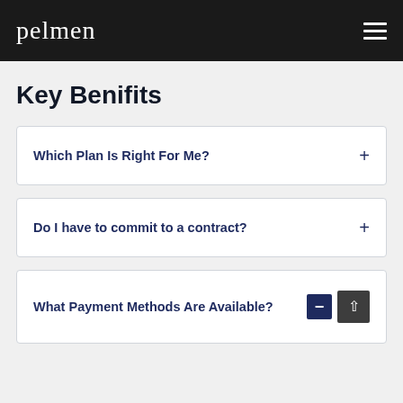pelmen
Key Benifits
Which Plan Is Right For Me?
Do I have to commit to a contract?
What Payment Methods Are Available?